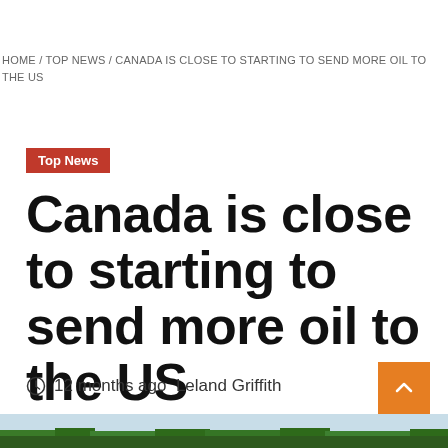HOME / TOP NEWS / CANADA IS CLOSE TO STARTING TO SEND MORE OIL TO THE US
Top News
Canada is close to starting to send more oil to the US
12 months ago  Leland Griffith
[Figure (photo): Landscape image showing tree line and sky at the bottom of the page]